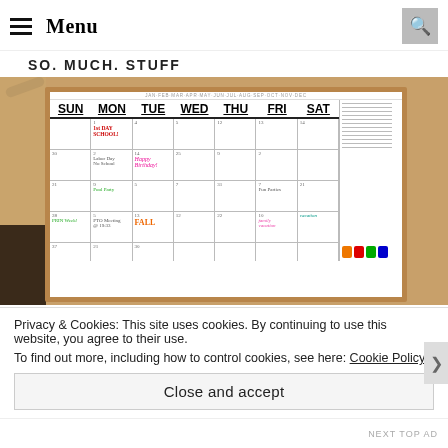Menu
SO. MUCH. STUFF
[Figure (photo): A large whiteboard calendar mounted in a wooden frame on a wall, showing a monthly calendar with days of the week (SUN, MON, TUE, WED, THU, FRI, SAT) and various colorful handwritten notes including 'First Day of School', 'Labor Day No School', 'Happy Birthday', 'FIRST DAY FALL', 'family vacation', and colored markers at the bottom.]
Privacy & Cookies: This site uses cookies. By continuing to use this website, you agree to their use.
To find out more, including how to control cookies, see here: Cookie Policy
Close and accept
NEXT TOP AD